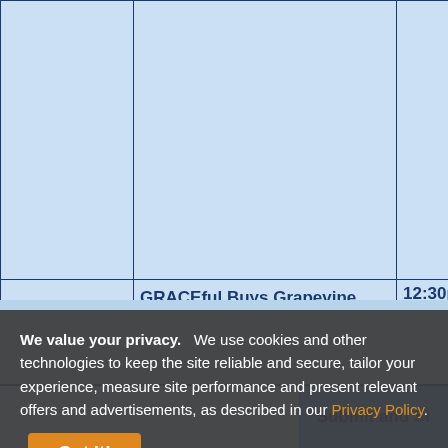| Date | Event | Time |
| --- | --- | --- |
|  |  |  |
|  | GRACEful Buys Grapevine 📍 | 12:30pm |
|  | GRACE Main 📍 | 3:00pm |
| 02/12/2022 (Sat.) | GRACEful Buys Grapevine 📍 | 9:30am |
We value your privacy. We use cookies and other technologies to keep the site reliable and secure, tailor your experience, measure site performance and present relevant offers and advertisements, as described in our Privacy Policy.
Got it!
Submit and Si